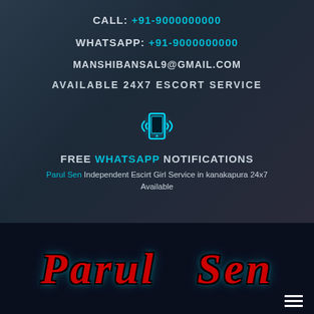CALL: +91-9000000000
WHATSAPP: +91-9000000000
MANSHIBANSAL9@GMAIL.COM
AVAILABLE 24X7 ESCORT SERVICE
[Figure (illustration): Glowing phone icon with signal waves]
FREE WHATSAPP NOTIFICATIONS
Parul Sen Independent Escirt Girl Service in kanakapura 24x7 Available
Parul Sen